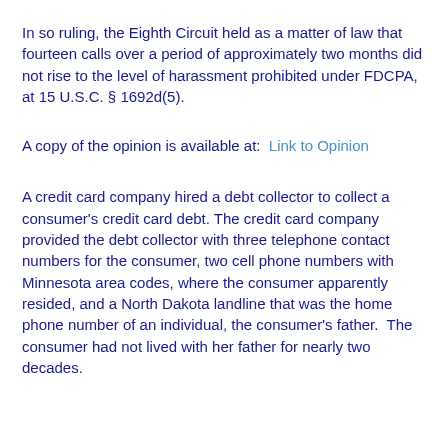In so ruling, the Eighth Circuit held as a matter of law that fourteen calls over a period of approximately two months did not rise to the level of harassment prohibited under FDCPA, at 15 U.S.C. § 1692d(5).
A copy of the opinion is available at:  Link to Opinion
A credit card company hired a debt collector to collect a consumer's credit card debt. The credit card company provided the debt collector with three telephone contact numbers for the consumer, two cell phone numbers with Minnesota area codes, where the consumer apparently resided, and a North Dakota landline that was the home phone number of an individual, the consumer's father.  The consumer had not lived with her father for nearly two decades.